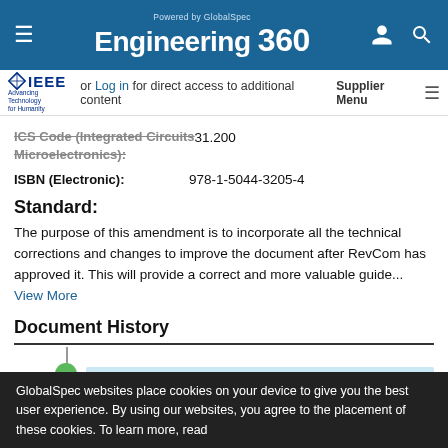Powered by GlobalSpec — Engineering 360
Register or Log in for direct access to additional content — Supplier Menu
| Field | Value |
| --- | --- |
| ICS Code (Integrated Circuits Microelectronics): | 31.200 |
| ISBN (Electronic): | 978-1-5044-3205-4 |
Standard:
The purpose of this amendment is to incorporate all the technical corrections and changes to improve the document after RevCom has approved it. This will provide a correct and more valuable guide... View More
Document History
[Figure (other): Document history timeline with a green dot marker and a blue horizontal bar]
GlobalSpec websites place cookies on your device to give you the best user experience. By using our websites, you agree to the placement of these cookies. To learn more, read